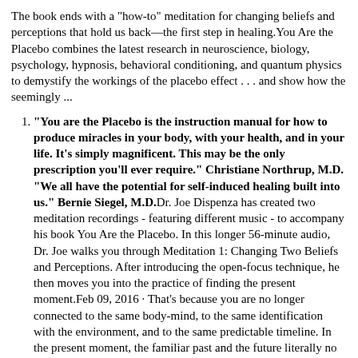The book ends with a "how-to" meditation for changing beliefs and perceptions that hold us back—the first step in healing.You Are the Placebo combines the latest research in neuroscience, biology, psychology, hypnosis, behavioral conditioning, and quantum physics to demystify the workings of the placebo effect . . . and show how the seemingly ...
"You are the Placebo is the instruction manual for how to produce miracles in your body, with your health, and in your life. It's simply magnificent. This may be the only prescription you'll ever require." Christiane Northrup, M.D. "We all have the potential for self-induced healing built into us." Bernie Siegel, M.D.Dr. Joe Dispenza has created two meditation recordings - featuring different music - to accompany his book You Are the Placebo. In this longer 56-minute audio, Dr. Joe walks you through Meditation 1: Changing Two Beliefs and Perceptions. After introducing the open-focus technique, he then moves you into the practice of finding the present moment.Feb 09, 2016 · That's because you are no longer connected to the same body-mind, to the same identification with the environment, and to the same predictable timeline. In the present moment, the familiar past and the future literally no longer exist, and you become pure consciousness-a thought alone.
Amazing Healing Meditation From Dr.Joe Dispenza